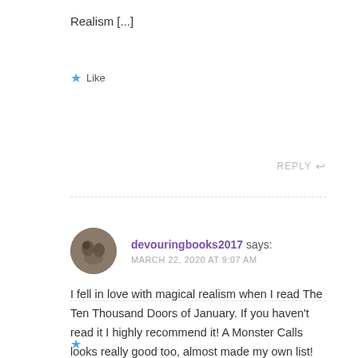Realism [...]
★ Like
REPLY ↩
devouringbooks2017 says:
MARCH 22, 2020 AT 9:07 AM
I fell in love with magical realism when I read The Ten Thousand Doors of January. If you haven't read it I highly recommend it! A Monster Calls looks really good too, almost made my own list!
★ Like